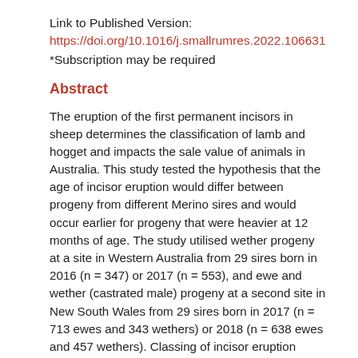Link to Published Version:
https://doi.org/10.1016/j.smallrumres.2022.106631
*Subscription may be required
Abstract
The eruption of the first permanent incisors in sheep determines the classification of lamb and hogget and impacts the sale value of animals in Australia. This study tested the hypothesis that the age of incisor eruption would differ between progeny from different Merino sires and would occur earlier for progeny that were heavier at 12 months of age. The study utilised wether progeny at a site in Western Australia from 29 sires born in 2016 (n = 347) or 2017 (n = 553), and ewe and wether (castrated male) progeny at a second site in New South Wales from 29 sires born in 2017 (n = 713 ewes and 343 wethers) or 2018 (n = 638 ewes and 457 wethers). Classing of incisor eruption commenced at 10–11 months of age and was recorded monthly until 19 or 20 months of age at the two sites. The average age of incisor eruption varied by up to 2.5 months between sire groups (P < 0.001) and incisor eruption was completed for all progeny within a sire group over three